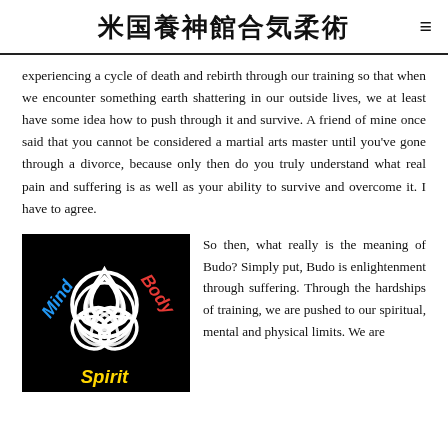米国養神館合気柔術
experiencing a cycle of death and rebirth through our training so that when we encounter something earth shattering in our outside lives, we at least have some idea how to push through it and survive. A friend of mine once said that you cannot be considered a martial arts master until you've gone through a divorce, because only then do you truly understand what real pain and suffering is as well as your ability to survive and overcome it. I have to agree.
[Figure (illustration): Black background image with white triquetra/trinity knot symbol in center, with 'Mind' in blue text on left, 'Body' in red text on right, and 'Spirit' in yellow text at bottom.]
So then, what really is the meaning of Budo? Simply put, Budo is enlightenment through suffering. Through the hardships of training, we are pushed to our spiritual, mental and physical limits. We are